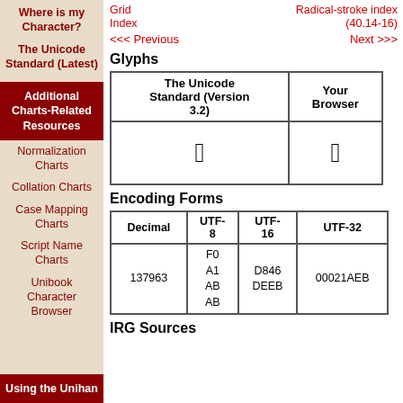Where is my Character?
The Unicode Standard (Latest)
Additional Charts-Related Resources
Normalization Charts
Collation Charts
Case Mapping Charts
Script Name Charts
Unibook Character Browser
Using the Unihan
Grid Index   Radical-stroke index (40.14-16)
<<< Previous    Next >>>
Glyphs
| The Unicode Standard (Version 3.2) | Your Browser |
| --- | --- |
| [glyph image] | [box] |
Encoding Forms
| Decimal | UTF-8 | UTF-16 | UTF-32 |
| --- | --- | --- | --- |
| 137963 | F0
A1
AB
AB | D846
DEEB | 00021AEB |
IRG Sources